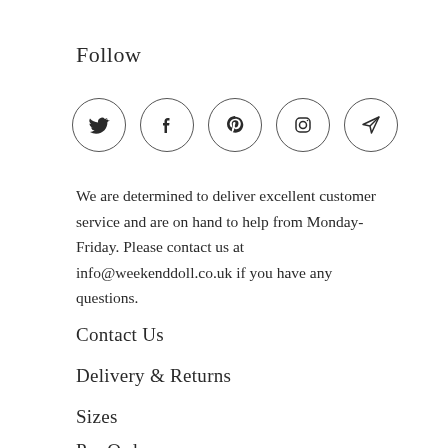Follow
[Figure (illustration): Five circular social media icons in a row: Twitter (bird), Facebook (f), Pinterest (p), Instagram (camera), and a paper plane/email icon. Each icon is enclosed in a circle with a thin border.]
We are determined to deliver excellent customer service and are on hand to help from Monday-Friday. Please contact us at info@weekenddoll.co.uk if you have any questions.
Contact Us
Delivery & Returns
Sizes
Pre Order